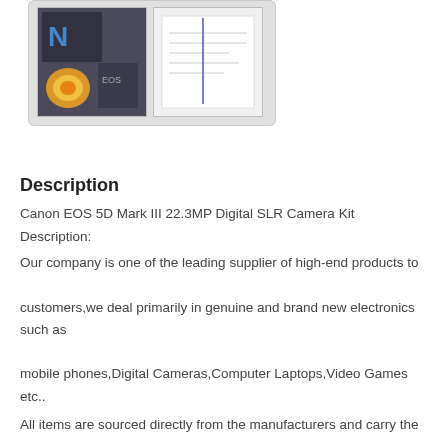[Figure (photo): Two product thumbnail images in a gray gallery box: left thumbnail shows camera/electronics box with colorful accent, right thumbnail shows a white document or paper]
Description
Canon EOS 5D Mark III 22.3MP Digital SLR Camera Kit
Description:
Our company is one of the leading supplier of high-end products to customers,we deal primarily in genuine and brand new electronics such as mobile phones,Digital Cameras,Computer Laptops,Video Games etc..
All items are sourced directly from the manufacturers and carry the manufacturer?s warranty. We ship 100% of our orders the same business da
Canon EOS 500D Kit with EF-S 18-200mm IS…………$800usd
Canon EOS 550D Kit with EF-S 18-55mm IS…………$600usd